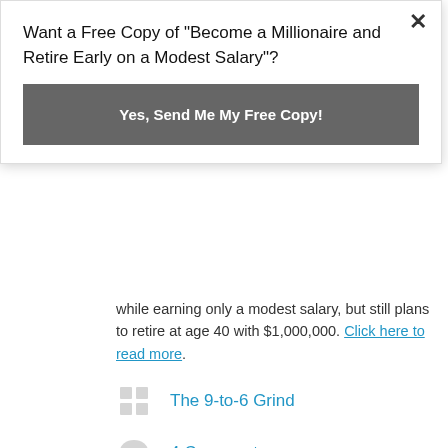Want a Free Copy of "Become a Millionaire and Retire Early on a Modest Salary"?
Yes, Send Me My Free Copy!
while earning only a modest salary, but still plans to retire at age 40 with $1,000,000. Click here to read more.
The 9-to-6 Grind
4 Comments
May 13, 2018